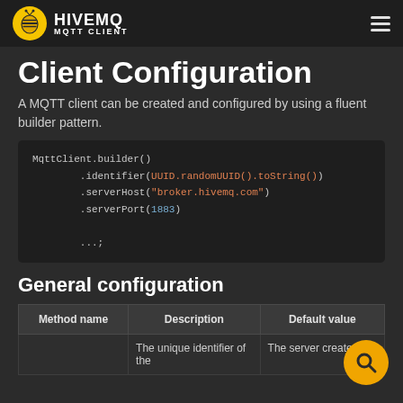HiveMQ MQTT CLIENT
Client Configuration
A MQTT client can be created and configured by using a fluent builder pattern.
[Figure (screenshot): Code block showing MqttClient.builder() with .identifier(UUID.randomUUID().toString()), .serverHost("broker.hivemq.com"), .serverPort(1883), ...;]
General configuration
| Method name | Description | Default value |
| --- | --- | --- |
|  | The unique identifier of the | The server creates an |